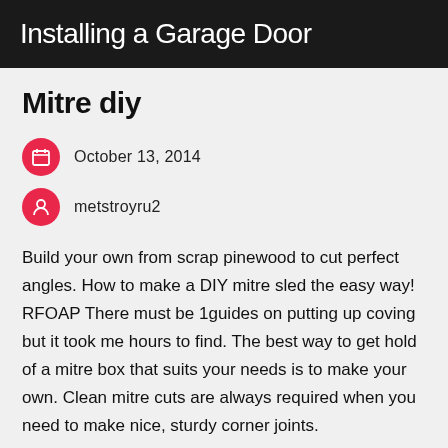Installing a Garage Door
Mitre diy
October 13, 2014
metstroyru2
Build your own from scrap pinewood to cut perfect angles. How to make a DIY mitre sled the easy way! RFOAP There must be 1guides on putting up coving but it took me hours to find. The best way to get hold of a mitre box that suits your needs is to make your own. Clean mitre cuts are always required when you need to make nice, sturdy corner joints.